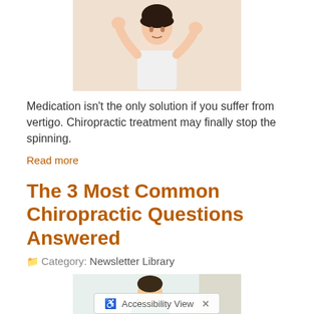[Figure (photo): Woman appearing to be in pain, holding her head with both hands raised]
Medication isn't the only solution if you suffer from vertigo. Chiropractic treatment may finally stop the spinning.
Read more
The 3 Most Common Chiropractic Questions Answered
Category: Newsletter Library
[Figure (photo): Chiropractor treating a patient, performing an arm adjustment]
Looking for a natural way to treat pain? Chiropractic care offers an effective solution